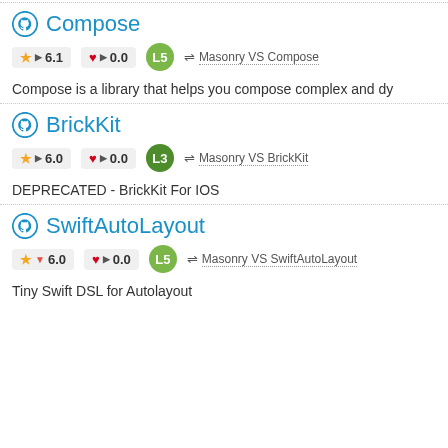Compose
★ ▶ 6.1   ♥ ▶ 0.0   L5   ⇌ Masonry VS Compose
Compose is a library that helps you compose complex and dy...
BrickKit
★ ▶ 6.0   ♥ ▶ 0.0   L3   ⇌ Masonry VS BrickKit
DEPRECATED - BrickKit For IOS
SwiftAutoLayout
★ ▼ 6.0   ♥ ▶ 0.0   L5   ⇌ Masonry VS SwiftAutoLayout
Tiny Swift DSL for Autolayout